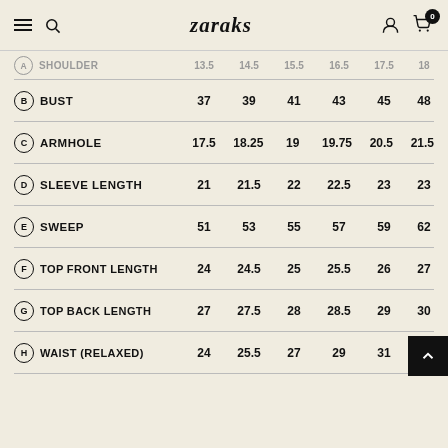zaraks
| Measurement | S | M | L | XL | 2XL | 3XL |
| --- | --- | --- | --- | --- | --- | --- |
| (A) SHOULDER | 13.5 | 14.5 | 15.5 | 16.5 | 17.5 | 18 |
| (B) BUST | 37 | 39 | 41 | 43 | 45 | 48 |
| (C) ARMHOLE | 17.5 | 18.25 | 19 | 19.75 | 20.5 | 21.5 |
| (D) SLEEVE LENGTH | 21 | 21.5 | 22 | 22.5 | 23 | 23 |
| (E) SWEEP | 51 | 53 | 55 | 57 | 59 | 62 |
| (F) TOP FRONT LENGTH | 24 | 24.5 | 25 | 25.5 | 26 | 27 |
| (G) TOP BACK LENGTH | 27 | 27.5 | 28 | 28.5 | 29 | 30 |
| (H) WAIST (RELAXED) | 24 | 25.5 | 27 | 29 | 31 | 33 |